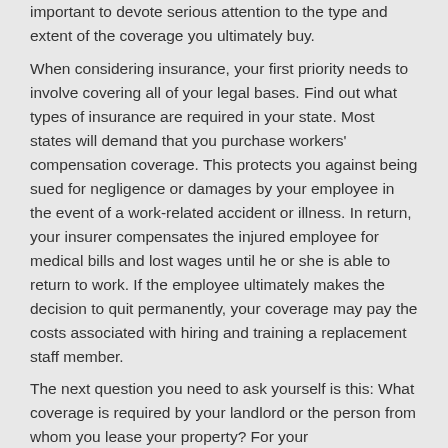important to devote serious attention to the type and extent of the coverage you ultimately buy.
When considering insurance, your first priority needs to involve covering all of your legal bases. Find out what types of insurance are required in your state. Most states will demand that you purchase workers' compensation coverage. This protects you against being sued for negligence or damages by your employee in the event of a work-related accident or illness. In return, your insurer compensates the injured employee for medical bills and lost wages until he or she is able to return to work. If the employee ultimately makes the decision to quit permanently, your coverage may pay the costs associated with hiring and training a replacement staff member.
The next question you need to ask yourself is this: What coverage is required by your landlord or the person from whom you lease your property? For your